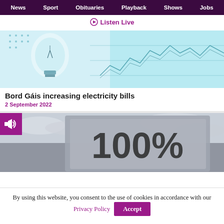News  Sport  Obituaries  Playback  Shows  Jobs
▶ Listen Live
[Figure (photo): Close-up of a light bulb with a stock market chart visible in the background in blue/cyan tones]
Bord Gáis increasing electricity bills
2 September 2022
[Figure (photo): Sign displaying '100%' against a cloudy sky background, with a purple speaker/audio icon badge in the top left corner]
By using this website, you consent to the use of cookies in accordance with our Privacy Policy  Accept